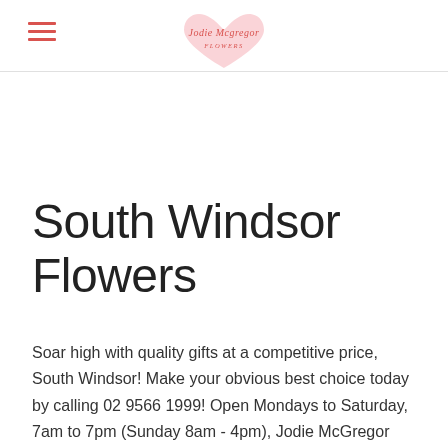Jodie McGregor Flowers [logo with hamburger menu]
South Windsor Flowers
Soar high with quality gifts at a competitive price, South Windsor! Make your obvious best choice today by calling 02 9566 1999! Open Mondays to Saturday, 7am to 7pm (Sunday 8am - 4pm), Jodie McGregor Flowers is always ready to serve orders urgent or well in advance. You want your floral arrangements and bouquets